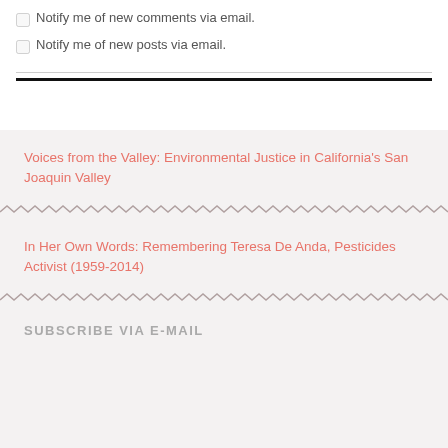Notify me of new comments via email.
Notify me of new posts via email.
Voices from the Valley: Environmental Justice in California's San Joaquin Valley
In Her Own Words: Remembering Teresa De Anda, Pesticides Activist (1959-2014)
SUBSCRIBE VIA E-MAIL